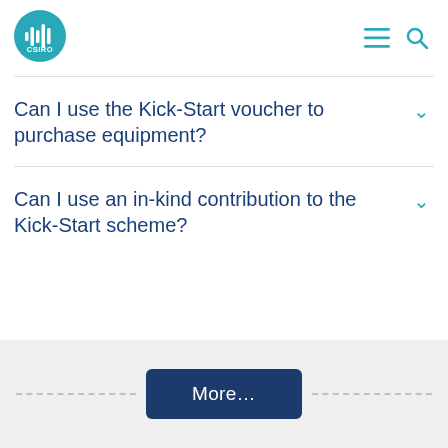[Figure (logo): CSIRO circular logo in teal/cyan with sound wave bars and CSIRO text]
Can I use the Kick-Start voucher to purchase equipment?
Can I use an in-kind contribution to the Kick-Start scheme?
More...